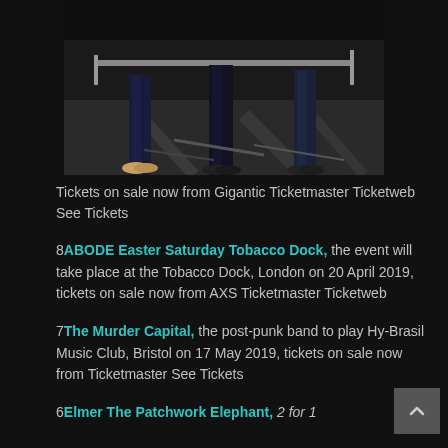[Figure (photo): Black and white photo of musicians/band members standing outdoors, partially visible from waist down, holding music equipment]
Tickets on sale now from Gigantic Ticketmaster Ticketweb See Tickets
8ABODE Easter Saturday Tobacco Dock, the event will take place at the Tobacco Dock, London on 20 April 2019, tickets on sale now from AXS Ticketmaster Ticketweb
7The Murder Capital, the post-punk band to play Hy-Brasil Music Club, Bristol on 17 May 2019, tickets on sale now from Ticketmaster See Tickets
6Elmer The Patchwork Elephant, 2 for 1